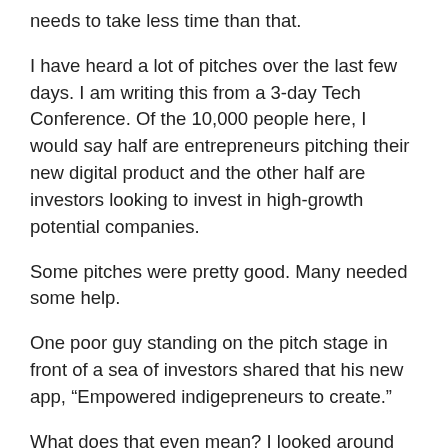needs to take less time than that.
I have heard a lot of pitches over the last few days. I am writing this from a 3-day Tech Conference. Of the 10,000 people here, I would say half are entrepreneurs pitching their new digital product and the other half are investors looking to invest in high-growth potential companies.
Some pitches were pretty good. Many needed some help.
One poor guy standing on the pitch stage in front of a sea of investors shared that his new app, “Empowered indigepreneurs to create.”
What does that even mean? I looked around the audience and you could see that he had instantly lost everyone’s attention… in less than a minute flat.
When marketing online, you only have couple of